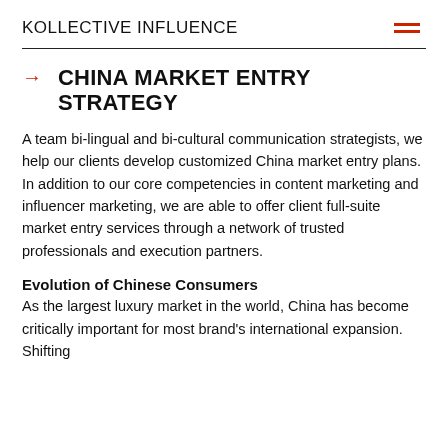KOLLECTIVE INFLUENCE
CHINA MARKET ENTRY STRATEGY
A team bi-lingual and bi-cultural communication strategists, we help our clients develop customized China market entry plans. In addition to our core competencies in content marketing and influencer marketing, we are able to offer client full-suite market entry services through a network of trusted professionals and execution partners.
Evolution of Chinese Consumers
As the largest luxury market in the world, China has become critically important for most brand's international expansion. Shifting